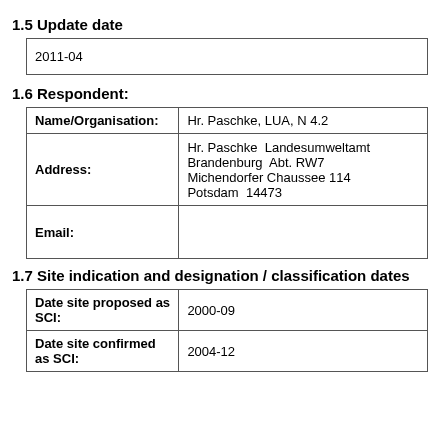1.5 Update date
| 2011-04 |
1.6 Respondent:
| Name/Organisation: | Hr. Paschke, LUA, N 4.2 |
| Address: | Hr. Paschke  Landesumweltamt Brandenburg  Abt. RW7 Michendorfer Chaussee 114 Potsdam  14473 |
| Email: |  |
1.7 Site indication and designation / classification dates
| Date site proposed as SCI: | 2000-09 |
| Date site confirmed as SCI: | 2004-12 |